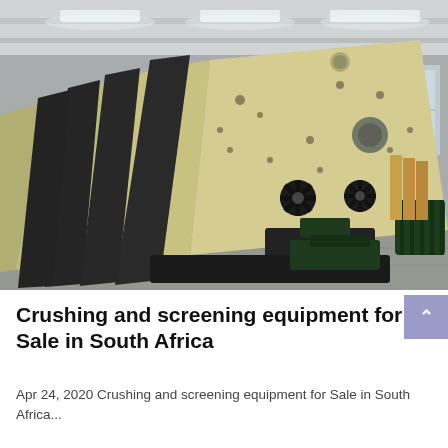[Figure (photo): Industrial factory interior showing a row of large yellow/beige vibrating screen machines and black support frames lined up along the floor of a warehouse. Motors and mechanical components are visible in the foreground.]
Crushing and screening equipment for Sale in South Africa
Apr 24, 2020 Crushing and screening equipment for Sale in South Africa...